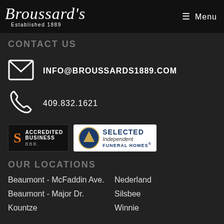Broussard's Established 1889 | Menu
CONTACT US
INFO@BROUSSARDS1889.COM
409.832.1621
[Figure (logo): BBB Accredited Business badge and Selected Independent Funeral Homes badge]
OUR LOCATIONS
Beaumont - McFaddin Ave.
Nederland
Beaumont - Major Dr.
Silsbee
Kountze
Winnie